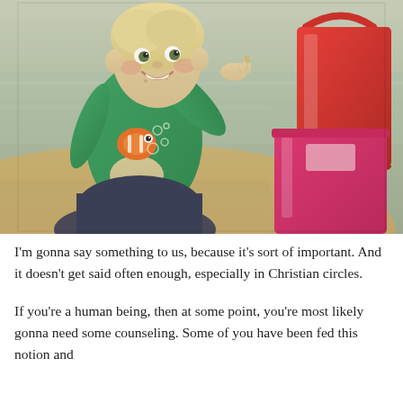[Figure (photo): A young toddler with blonde hair wearing a green long-sleeve shirt with a cartoon fish (Nemo) design and bubbles, sitting on a sandy beach next to red and pink/magenta plastic buckets. The child is smiling and reaching toward the camera. The background shows water and sandy beach with a warm, slightly faded vintage photo tone.]
I'm gonna say something to us, because it's sort of important. And it doesn't get said often enough, especially in Christian circles.
If you're a human being, then at some point, you're most likely gonna need some counseling. Some of you have been fed this notion and